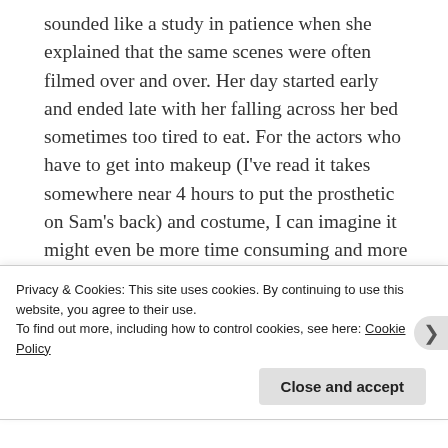sounded like a study in patience when she explained that the same scenes were often filmed over and over. Her day started early and ended late with her falling across her bed sometimes too tired to eat. For the actors who have to get into makeup (I've read it takes somewhere near 4 hours to put the prosthetic on Sam's back) and costume, I can imagine it might even be more time consuming and more exhausting. Despite all this they must be ready to be in character and stay in character on demand and get up and do it all again the next day. Ron Moore talked about the stamina it took for Cait to be in almost every scene, I'm starting to really appreciate what he meant and
Privacy & Cookies: This site uses cookies. By continuing to use this website, you agree to their use.
To find out more, including how to control cookies, see here: Cookie Policy
Close and accept